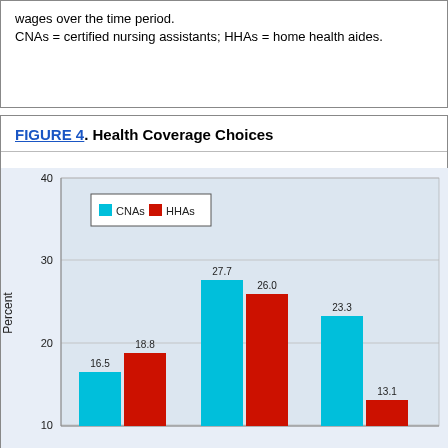wages over the time period. CNAs = certified nursing assistants; HHAs = home health aides.
FIGURE 4. Health Coverage Choices
[Figure (grouped-bar-chart): Health Coverage Choices]